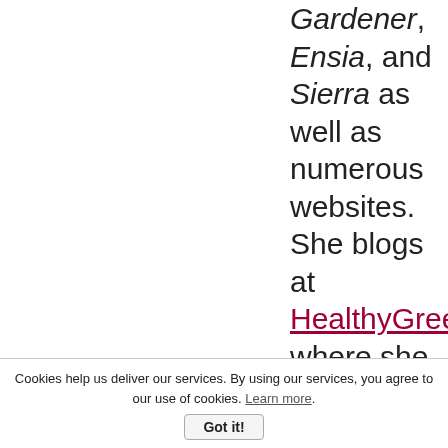Gardener, Ensia, and Sierra as well as numerous websites. She blogs at HealthyGreenS where she shares practical shortcuts to eco-friendly
Cookies help us deliver our services. By using our services, you agree to our use of cookies. Learn more. Got it!